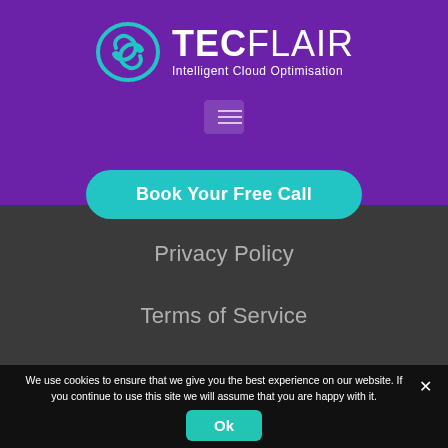[Figure (logo): TecFlair logo with cyan cloud icon and text 'TECFLAIR Intelligent Cloud Optimisation' on purple background]
[Figure (other): Hamburger menu icon on purple background]
Book Your Free Call
Privacy Policy
Terms of Service
We use cookies to ensure that we give you the best experience on our website. If you continue to use this site we will assume that you are happy with it.
Ok